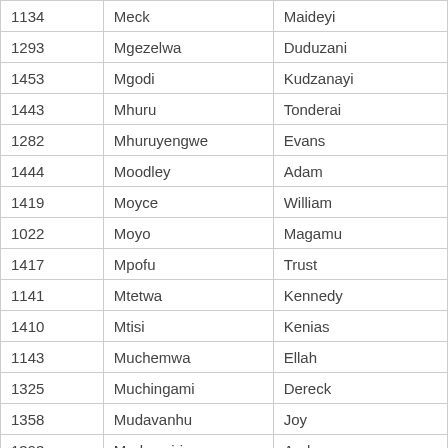| 1134 | Meck | Maideyi |
| 1293 | Mgezelwa | Duduzani |
| 1453 | Mgodi | Kudzanayi |
| 1443 | Mhuru | Tonderai |
| 1282 | Mhuruyengwe | Evans |
| 1444 | Moodley | Adam |
| 1419 | Moyce | William |
| 1022 | Moyo | Magamu |
| 1417 | Mpofu | Trust |
| 1141 | Mtetwa | Kennedy |
| 1410 | Mtisi | Kenias |
| 1143 | Muchemwa | Ellah |
| 1325 | Muchingami | Dereck |
| 1358 | Mudavanhu | Joy |
| 1393 | Mudzamiri | Anderson |
| 1451 | Mugadza | Diana |
| 1146 | Mugandani | Ernest |
| 1147 | Mugova | Elfas |
| 1427 | Mugwagwa | Chiedza |
| 1408 | Mujuru | Cuthbert |
| ... | Muk... | De... |